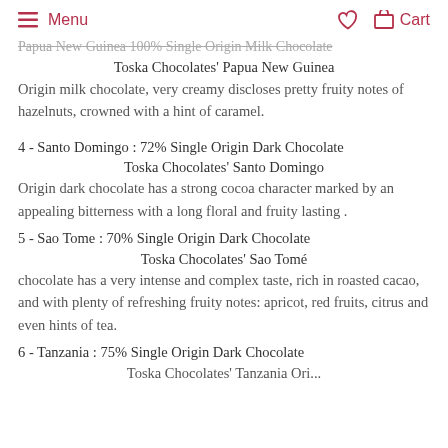Menu | Cart
Papua New Guinea 100% Single Origin Milk Chocolate
Toska Chocolates' Papua New Guinea Origin milk chocolate, very creamy discloses pretty fruity notes of hazelnuts, crowned with a hint of caramel.
4 - Santo Domingo : 72% Single Origin Dark Chocolate
Toska Chocolates' Santo Domingo Origin dark chocolate has a strong cocoa character marked by an appealing bitterness with a long floral and fruity lasting .
5 - Sao Tome : 70% Single Origin Dark Chocolate
Toska Chocolates' Sao Tomé chocolate has a very intense and complex taste, rich in roasted cacao, and with plenty of refreshing fruity notes: apricot, red fruits, citrus and even hints of tea.
6 - Tanzania : 75% Single Origin Dark Chocolate
Toska Chocolates' Tanzania Ori...